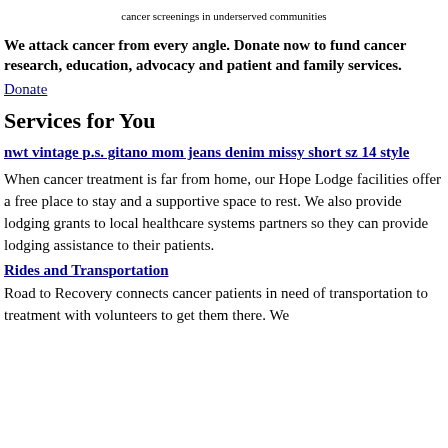cancer screenings in underserved communities
We attack cancer from every angle. Donate now to fund cancer research, education, advocacy and patient and family services.
Donate
Services for You
nwt vintage p.s. gitano mom jeans denim missy short sz 14 style
When cancer treatment is far from home, our Hope Lodge facilities offer a free place to stay and a supportive space to rest. We also provide lodging grants to local healthcare systems partners so they can provide lodging assistance to their patients.
Rides and Transportation
Road to Recovery connects cancer patients in need of transportation to treatment with volunteers to get them there. We